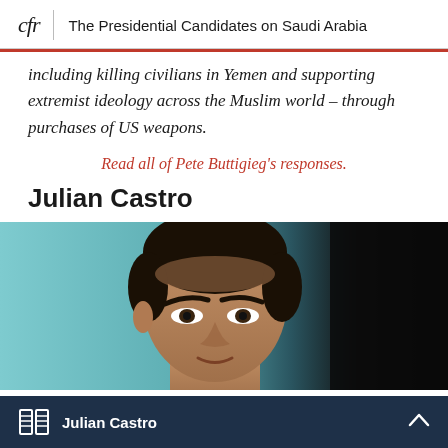cfr | The Presidential Candidates on Saudi Arabia
including killing civilians in Yemen and supporting extremist ideology across the Muslim world – through purchases of US weapons.
Read all of Pete Buttigieg's responses.
Julian Castro
[Figure (photo): Head and shoulders photo of Julian Castro against a teal/blue background fading to black on the right side]
Julian Castro